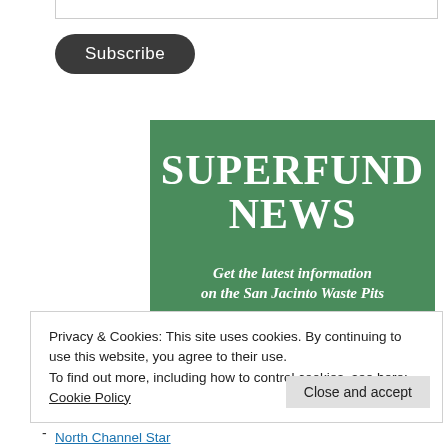[Figure (screenshot): Top edge of a bordered input/text box, partially visible at top of page]
Subscribe
[Figure (illustration): Green banner image with white bold serif text reading 'SUPERFUND NEWS' and tagline 'Get the latest information on the San Jacinto Waste Pits']
Privacy & Cookies: This site uses cookies. By continuing to use this website, you agree to their use.
To find out more, including how to control cookies, see here: Cookie Policy
Close and accept
North Channel Star